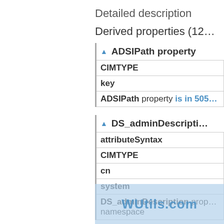Detailed description
Derived properties (12…)
▲ ADSIPath property
| CIMTYPE |
| key |
| ADSIPath property is in 505… |
▲ DS_adminDescripti…
| attributeSyntax |
| CIMTYPE |
| cn |
| system |
| DS_adminDescription prop… namespace |
▲ DS_adminDisplayN…
[Figure (other): WUtils.com watermark overlay]